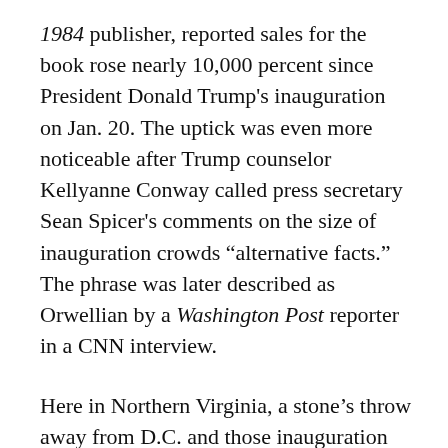1984 publisher, reported sales for the book rose nearly 10,000 percent since President Donald Trump's inauguration on Jan. 20. The uptick was even more noticeable after Trump counselor Kellyanne Conway called press secretary Sean Spicer's comments on the size of inauguration crowds “alternative facts.” The phrase was later described as Orwellian by a Washington Post reporter in a CNN interview.
Here in Northern Virginia, a stone’s throw away from D.C. and those inauguration (and protest) crowds, 1984 hasn’t dominated book sales. Recent best-selling mainstays like Colson Whitehead’s The Underground Railroad, page-to-screen adaptations like